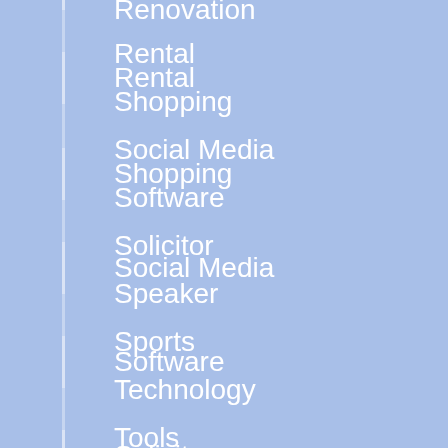Renovation
Rental
Shopping
Social Media
Software
Solicitor
Speaker
Sports
Technology
Tools
Travel
Uncategorized